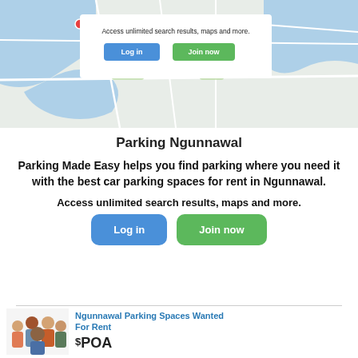[Figure (map): Map of Sydney/Pyrmont area with a login/join dialog overlay showing 'Access unlimited search results, maps and more.' with Log in and Join now buttons]
Parking Ngunnawal
Parking Made Easy helps you find parking where you need it with the best car parking spaces for rent in Ngunnawal.
Access unlimited search results, maps and more.
Log in | Join now
Ngunnawal Parking Spaces Wanted For Rent
$POA